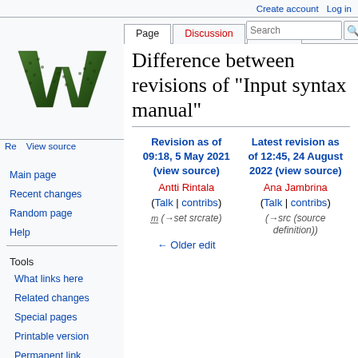Create account  Log in
[Figure (logo): Wikipedia logo — large green and black stylized W on white background]
Main page
Recent changes
Random page
Help
Tools
What links here
Related changes
Special pages
Printable version
Permanent link
Page information
Difference between revisions of "Input syntax manual"
| Revision as of 09:18, 5 May 2021 (view source) | Latest revision as of 12:45, 24 August 2022 (view source) |
| --- | --- |
| Antti Rintala | Ana Jambrina |
| (Talk | contribs) | (Talk | contribs) |
| m (→set srcrate) | (→src (source definition)) |
| ← Older edit |  |